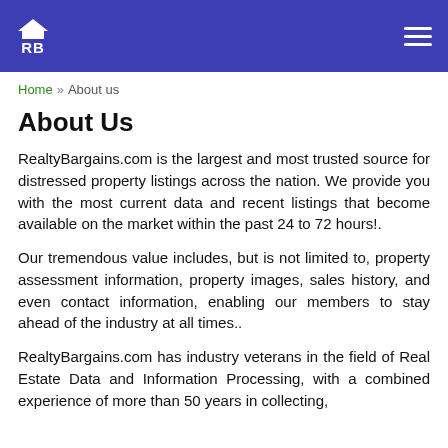RB
Home » About us
About Us
RealtyBargains.com is the largest and most trusted source for distressed property listings across the nation. We provide you with the most current data and recent listings that become available on the market within the past 24 to 72 hours!.
Our tremendous value includes, but is not limited to, property assessment information, property images, sales history, and even contact information, enabling our members to stay ahead of the industry at all times..
RealtyBargains.com has industry veterans in the field of Real Estate Data and Information Processing, with a combined experience of more than 50 years in collecting, organizing and disseminating data to our customers.